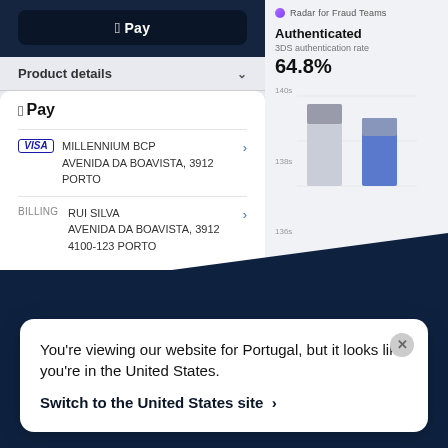[Figure (screenshot): Apple Pay payment sheet showing VISA card for MILLENNIUM BCP at AVENIDA DA BOAVISTA, 3912, PORTO and billing info for RUI SILVA]
[Figure (bar-chart): Radar for Fraud Teams analytics panel showing Authenticated 3DS authentication rate of 64.8% with a stacked bar chart]
You're viewing our website for Portugal, but it looks like you're in the United States.
Switch to the United States site ›